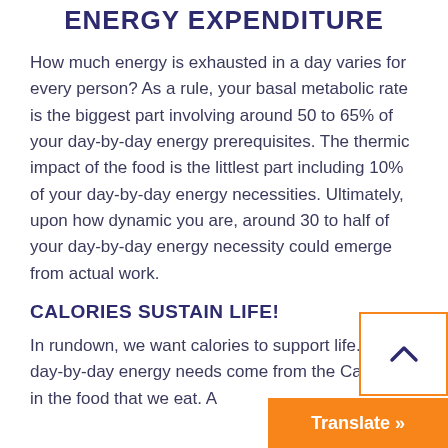ENERGY EXPENDITURE
How much energy is exhausted in a day varies for every person? As a rule, your basal metabolic rate is the biggest part involving around 50 to 65% of your day-by-day energy prerequisites. The thermic impact of the food is the littlest part including 10% of your day-by-day energy necessities. Ultimately, upon how dynamic you are, around 30 to half of your day-by-day energy necessity could emerge from actual work.
CALORIES SUSTAIN LIFE!
In rundown, we want calories to support life. Our day-by-day energy needs come from the Calories in the food that we eat. A...